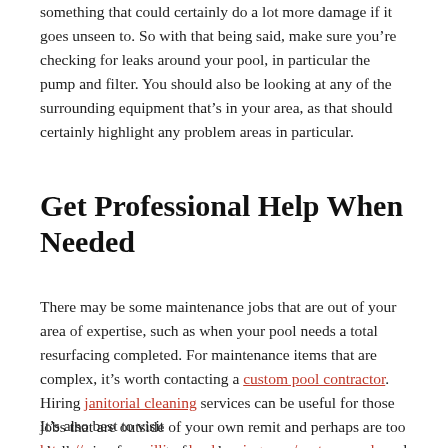something that could certainly do a lot more damage if it goes unseen to. So with that being said, make sure you're checking for leaks around your pool, in particular the pump and filter. You should also be looking at any of the surrounding equipment that's in your area, as that should certainly highlight any problem areas in particular.
Get Professional Help When Needed
There may be some maintenance jobs that are out of your area of expertise, such as when your pool needs a total resurfacing completed. For maintenance items that are complex, it's worth contacting a custom pool contractor. Hiring janitorial cleaning services can be useful for those jobs that are outside of your own remit and perhaps are too challenging for you to face alone.
It's also best to visit https://www.couvillionslandscaping.com/custom-pools and consult the experts at at Couvillion's Landscapes when it comes